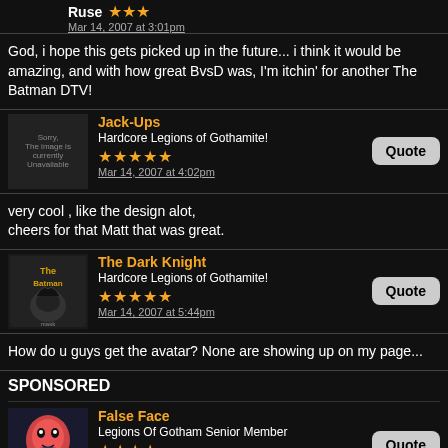Ruse ★★★ Mar 14, 2007 at 3:01pm
God, i hope this gets picked up in the future... i think it would be amazing, and with how great BvsD was, I'm itchin' for another The Batman DTV!
Jack-Ups Hardcore Legions of Gothamite! ★★★★★ Mar 14, 2007 at 4:02pm
very cool , like the design alot,
cheers for that Matt that was great.
The Dark Knight Hardcore Legions of Gothamite! ★★★★★ Mar 14, 2007 at 5:44pm
How do u guys get the avatar? None are showing up on my page...
SPONSORED
False Face Legions Of Gotham Senior Member ★★★★